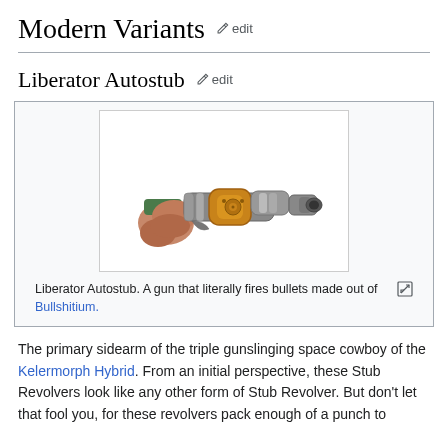Modern Variants edit
Liberator Autostub edit
[Figure (illustration): Illustration of a Liberator Autostub gun being held by a hand. The gun has a metallic silver body with a gold/bronze cylindrical chamber section and a muzzle at the right end.]
Liberator Autostub. A gun that literally fires bullets made out of Bullshitium.
The primary sidearm of the triple gunslinging space cowboy of the Kelermorph Hybrid. From an initial perspective, these Stub Revolvers look like any other form of Stub Revolver. But don't let that fool you, for these revolvers pack enough of a punch to